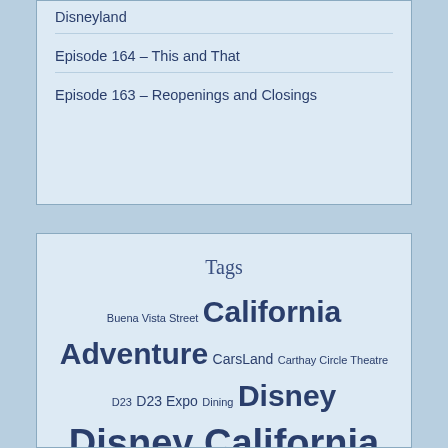Disneyland
Episode 164 – This and That
Episode 163 – Reopenings and Closings
Tags
Buena Vista Street California Adventure CarsLand Carthay Circle Theatre D23 D23 Expo Dining Disney California Adventure disney characters Disney Hollywood Studios disneyland Disneyland 60th Anniversary Disneyland Diamond Celebration